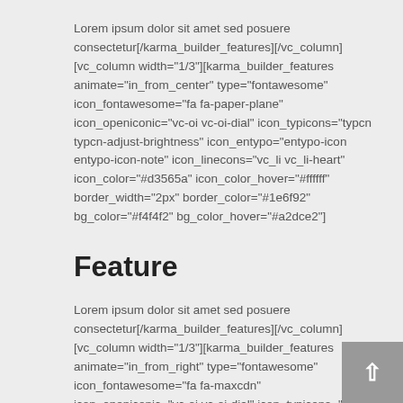Lorem ipsum dolor sit amet sed posuere consectetur[/karma_builder_features][/vc_column][vc_column width="1/3"][karma_builder_features animate="in_from_center" type="fontawesome" icon_fontawesome="fa fa-paper-plane" icon_openiconic="vc-oi vc-oi-dial" icon_typicons="typcn typcn-adjust-brightness" icon_entypo="entypo-icon entypo-icon-note" icon_linecons="vc_li vc_li-heart" icon_color="#d3565a" icon_color_hover="#ffffff" border_width="2px" border_color="#1e6f92" bg_color="#f4f4f2" bg_color_hover="#a2dce2"]
Feature
Lorem ipsum dolor sit amet sed posuere consectetur[/karma_builder_features][/vc_column][vc_column width="1/3"][karma_builder_features animate="in_from_right" type="fontawesome" icon_fontawesome="fa fa-maxcdn" icon_openiconic="vc-oi vc-oi-dial" icon_typicons="typcn typcn-adjust-brightness" icon_entypo="entypo-icon entypo-icon-note" icon_linecons="vc_li vc_li-heart" icon_color="#d3565a" icon_color_hover="#ffffff" border_width="2px" border_color="#1e6f92" bg_color="#f4f4f2" bg_color_hover="#a2dce2"]